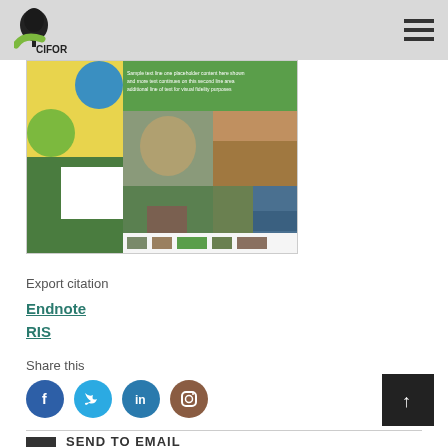CIFOR
[Figure (photo): CIFOR publication cover thumbnail showing a collage of forest and people images]
Export citation
Endnote
RIS
Share this
[Figure (other): Social media icons: Facebook, Twitter, LinkedIn, Instagram. Back to top button with up arrow.]
SEND TO EMAIL